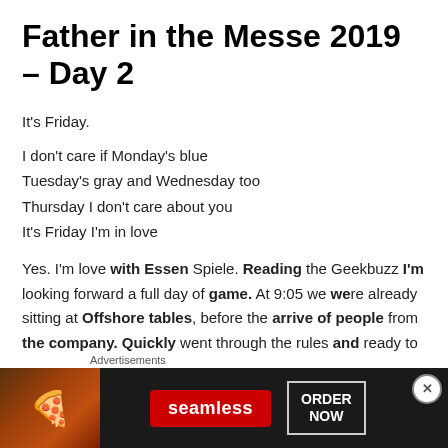Father in the Messe 2019 – Day 2
It's Friday.
I don't care if Monday's blue
Tuesday's gray and Wednesday too
Thursday I don't care about you
It's Friday I'm in love
Yes. I'm love with Essen Spiele. Reading the Geekbuzz I'm looking forward a full day of game. At 9:05 we were already sitting at Offshore tables, before the arrive of people from the company. Quickly went through the rules and ready to drill!!!
[Figure (advertisement): Seamless food delivery advertisement banner with pizza image, red Seamless logo button, and ORDER NOW text in white border box on dark background]